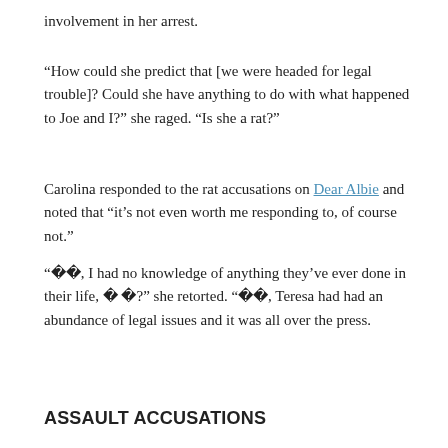involvement in her arrest.
“How could she predict that [we were headed for legal trouble]? Could she have anything to do with what happened to Joe and I?” she raged. “Is she a rat?”
Carolina responded to the rat accusations on Dear Albie and noted that “it’s not even worth me responding to, of course not.”
“��, I had no knowledge of anything they’ve ever done in their life, � �?” she retorted. “��, Teresa had had an abundance of legal issues and it was all over the press.
“The writing was on the wall that something was going to happen because the indictment was so big. So you don’t need to be a rocket scientist to figure it out.”
ASSAULT ACCUSATIONS